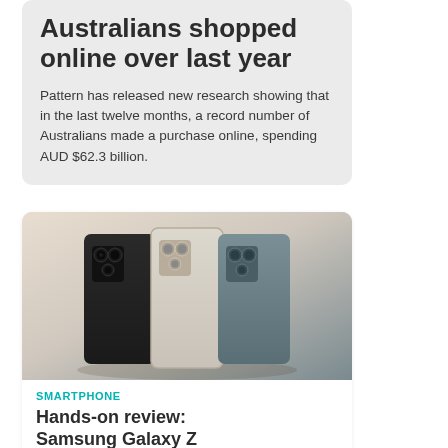Australians shopped online over last year
Pattern has released new research showing that in the last twelve months, a record number of Australians made a purchase online, spending AUD $62.3 billion.
[Figure (photo): Three Samsung Galaxy Z Fold smartphones standing upright in black, cream/gold, and dark teal/grey colors, showing their rear camera modules against a warm beige background.]
SMARTPHONE
Hands-on review: Samsung Galaxy Z